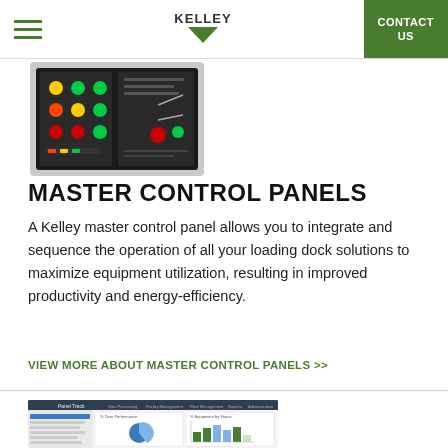KELLEY | CONTACT US
[Figure (photo): Kelley master control panel device with colorful buttons and indicators on a dark panel]
MASTER CONTROL PANELS
A Kelley master control panel allows you to integrate and sequence the operation of all your loading dock solutions to maximize equipment utilization, resulting in improved productivity and energy-efficiency.
VIEW MORE ABOUT MASTER CONTROL PANELS >>
[Figure (screenshot): Screenshot of Kelley Panel Track software dashboard showing facility management interface with charts and data]